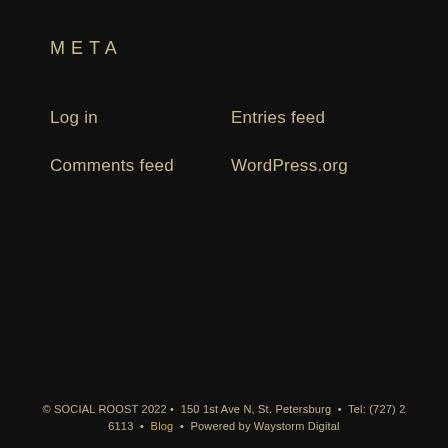META
Log in
Entries feed
Comments feed
WordPress.org
© SOCIAL ROOST 2022 • 150 1st Ave N, St. Petersburg • Tel: (727) 2 6113 • Blog • Powered by Waystorm Digital